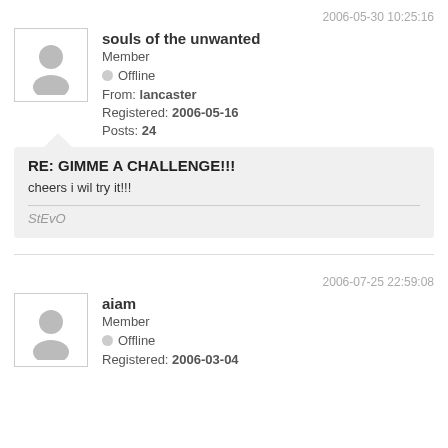2006-05-30 10:25:16
souls of the unwanted
Member
Offline
From: lancaster
Registered: 2006-05-16
Posts: 24
RE: GIMME A CHALLENGE!!!
cheers i wil try it!!!
StEvO
2006-07-25 22:59:08
aiam
Member
Offline
Registered: 2006-03-04